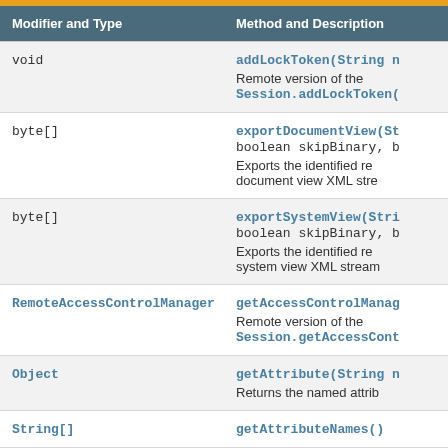| Modifier and Type | Method and Description |
| --- | --- |
| void | addLockToken(String n
Remote version of the
Session.addLockToken( |
| byte[] | exportDocumentView(St
boolean skipBinary, b
Exports the identified re
document view XML stre |
| byte[] | exportSystemView(Stri
boolean skipBinary, b
Exports the identified re
system view XML stream |
| RemoteAccessControlManager | getAccessControlManag
Remote version of the
Session.getAccessCont |
| Object | getAttribute(String n
Returns the named attrib |
| String[] | getAttributeNames() |